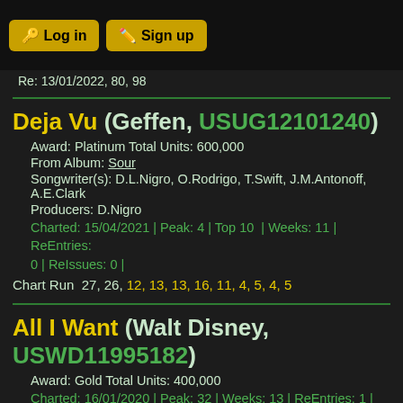Log in | Sign up
Re: 13/01/2022, 80, 98
Deja Vu (Geffen, USUG12101240)
Award: Platinum Total Units: 600,000
From Album: Sour
Songwriter(s): D.L.Nigro, O.Rodrigo, T.Swift, J.M.Antonoff, A.E.Clark
Producers: D.Nigro
Charted: 15/04/2021 | Peak: 4 | Top 10  | Weeks: 11 | ReEntries: 0 | ReIssues: 0 |
Chart Run  27, 26, 12, 13, 13, 16, 11, 4, 5, 4, 5
All I Want (Walt Disney, USWD11995182)
Award: Gold Total Units: 400,000
Charted: 16/01/2020 | Peak: 32 | Weeks: 13 | ReEntries: 1 | ReIssues: 0 |
Chart Run  93, 92, 99, 87, 78, 72, 79, 84, 95
Re: 28/01/2021, 32, 43, 54, 61